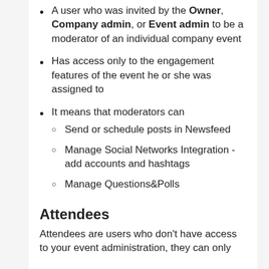A user who was invited by the Owner, Company admin, or Event admin to be a moderator of an individual company event
Has access only to the engagement features of the event he or she was assigned to
It means that moderators can
Send or schedule posts in Newsfeed
Manage Social Networks Integration - add accounts and hashtags
Manage Questions&Polls
Attendees
Attendees are users who don't have access to your event administration, they can only